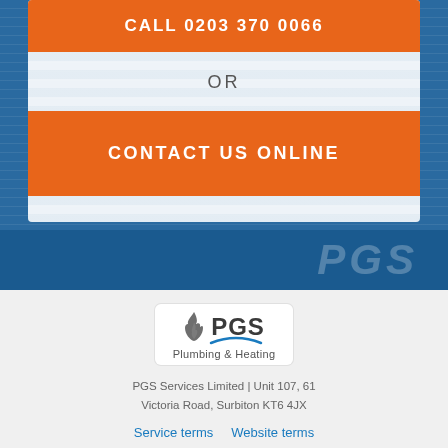CALL 0203 370 0066
OR
CONTACT US ONLINE
[Figure (logo): PGS Plumbing & Heating logo with flame icon and arc]
PGS Services Limited | Unit 107, 61
Victoria Road, Surbiton KT6 4JX
Service terms    Website terms
Privacy Policy    Service level promise